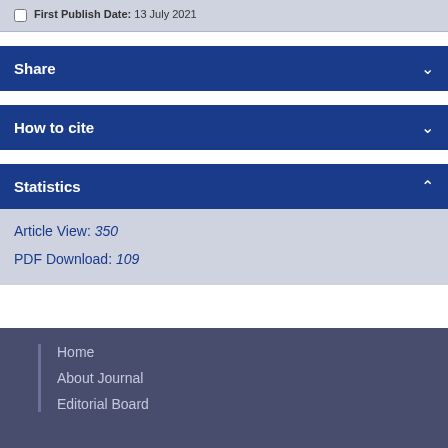First Publish Date: 13 July 2021
Share
How to cite
Statistics
Article View: 350
PDF Download: 109
Home
About Journal
Editorial Board